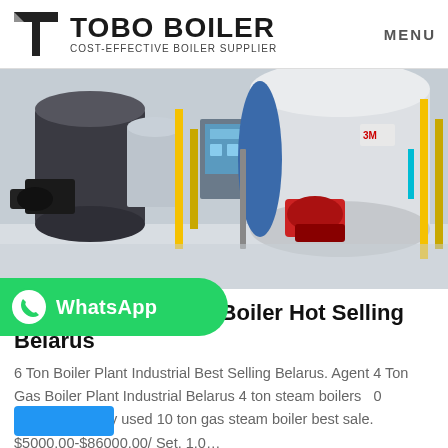TOBO BOILER — COST-EFFECTIVE BOILER SUPPLIER | MENU
[Figure (photo): Industrial boiler room showing multiple large cylindrical boilers with blue ends, gas burners (black and red), yellow piping, control panels, on a light-colored floor]
1t Gas Condensing Boiler Hot Selling Belarus
6 Ton Boiler Plant Industrial Best Selling Belarus. Agent 4 Ton Gas Boiler Plant Industrial Belarus 4 ton steam boilers 0 products Widely used 10 ton gas steam boiler best sale. $5000.00-$86000.00/ Set. 1.0...
[Figure (logo): WhatsApp green rounded bar button with WhatsApp phone icon and 'WhatsApp' text in white]